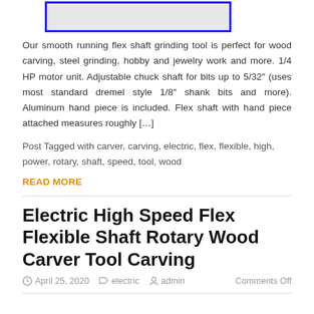[Figure (photo): Product image placeholder with blue border]
Our smooth running flex shaft grinding tool is perfect for wood carving, steel grinding, hobby and jewelry work and more. 1/4 HP motor unit. Adjustable chuck shaft for bits up to 5/32″ (uses most standard dremel style 1/8″ shank bits and more). Aluminum hand piece is included. Flex shaft with hand piece attached measures roughly […]
Post Tagged with carver, carving, electric, flex, flexible, high, power, rotary, shaft, speed, tool, wood
READ MORE
Electric High Speed Flex Flexible Shaft Rotary Wood Carver Tool Carving
April 25, 2020   electric   admin   Comments Off